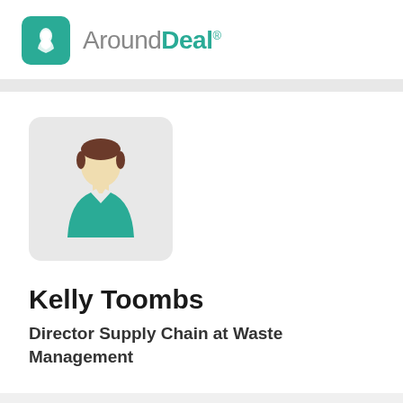[Figure (logo): AroundDeal logo with teal rocket icon and company name]
[Figure (illustration): Generic person avatar placeholder with teal shirt and brown hair on light gray background]
Kelly Toombs
Director Supply Chain at Waste Management